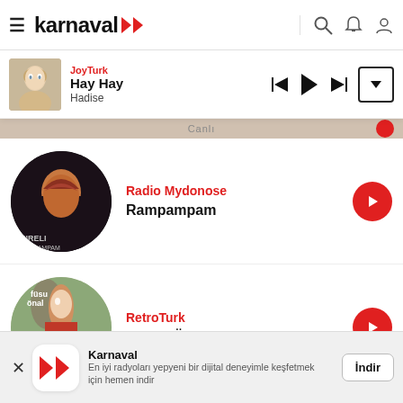karnaval — header with hamburger menu, logo, search, notification, and profile icons
[Figure (screenshot): Now playing bar showing JoyTurk station, song 'Hay Hay' by Hadise, with prev/play/next and expand controls]
[Figure (screenshot): Partial top strip showing 'Canlı' label with album art thumbnail]
[Figure (screenshot): Radio Mydonose — Rampampam listing with circular album art and red arrow button]
[Figure (screenshot): RetroTurk — Füsun Önal - Seçmeleri listing with circular album art and red arrow button]
[Figure (screenshot): Bottom app install banner: Karnaval logo, text 'En iyi radyoları yepyeni bir dijital deneyimle keşfetmek için hemen indir', İndir button]